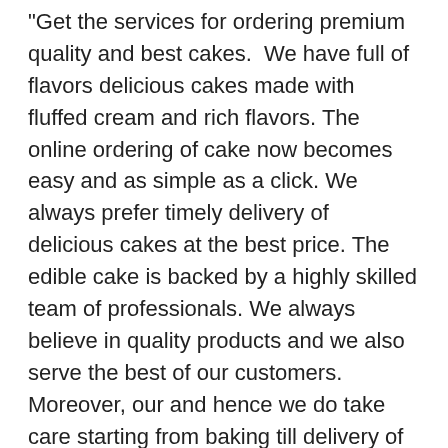Get the services for ordering premium quality and best cakes.  We have full of flavors delicious cakes made with fluffed cream and rich flavors. The online ordering of cake now becomes easy and as simple as a click. We always prefer timely delivery of delicious cakes at the best price. The edible cake is backed by a highly skilled team of professionals. We always believe in quality products and we also serve the best of our customers. Moreover, our and hence we do take care starting from baking till delivery of our premium cakes. For special cake home delivery in surat, you can place order us.
Do you know the secret of spreading and sending love... If you want to make celebrations extraordinary you can buy cakes from us.  We are here dealing with the online cake s delivery. Our cakes are famous and also make them a celebration showstopper. Freshness and taste you both get by us.  Order now for the special